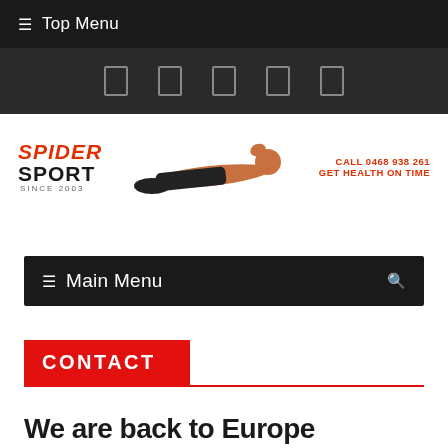☰ Top Menu
[Figure (screenshot): Navigation icon bar with 5 square placeholder icons on dark background]
[Figure (screenshot): Spider Sport banner with logo, athlete doing plank, and call to action: CALL 0468 938 261 GET HEALTH ON TIME]
☰ Main Menu
CONTACT
We are back to Europe